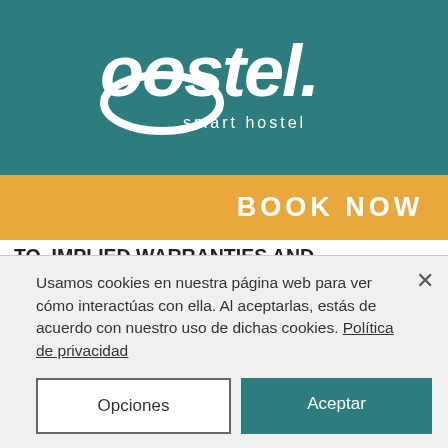[Figure (logo): Oostel smart hostel logo and navigation bar with teal background and hamburger menu]
BOOK NOW
TO, IMPLIED WARRANTIES AND CONDITIONS OF MERCHANTABILITY, FITNESS FOR A PARTICULAR PURPOSE, AND NON-INFRINGEMENT. wandoOra Wi Fi DOES NOT WARRANT THAT THE SERVICES WILL MEET YOUR REQUIREMENTS, BE UNINTERRUPTED, ERROR-FREE OR FREE OF VIRUSES OR OTHER HARMFUL COMPONENTS.
Usamos cookies en nuestra página web para ver cómo interactúas con ella. Al aceptarlas, estás de acuerdo con nuestro uso de dichas cookies. Política de privacidad
Opciones
Aceptar